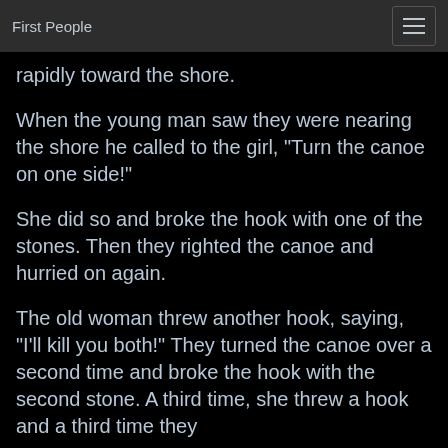First People
rapidly toward the shore.
When the young man saw they were nearing the shore he called to the girl, "Turn the canoe on one side!"
She did so and broke the hook with one of the stones. Then they righted the canoe and hurried on again.
The old woman threw another hook, saying, "I'll kill you both!" They turned the canoe over a second time and broke the hook with the second stone. A third time, she threw a hook and a third time they